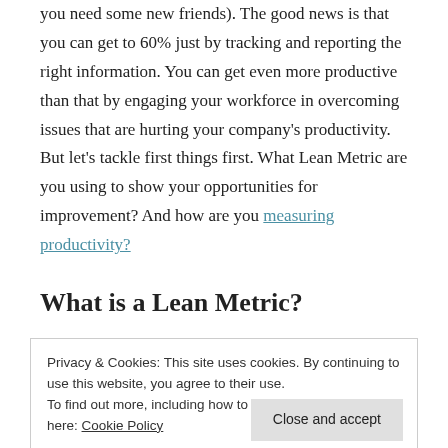you need some new friends). The good news is that you can get to 60% just by tracking and reporting the right information. You can get even more productive than that by engaging your workforce in overcoming issues that are hurting your company's productivity. But let's tackle first things first. What Lean Metric are you using to show your opportunities for improvement? And how are you measuring productivity?
What is a Lean Metric?
Privacy & Cookies: This site uses cookies. By continuing to use this website, you agree to their use.
To find out more, including how to control cookies, see here: Cookie Policy
Close and accept